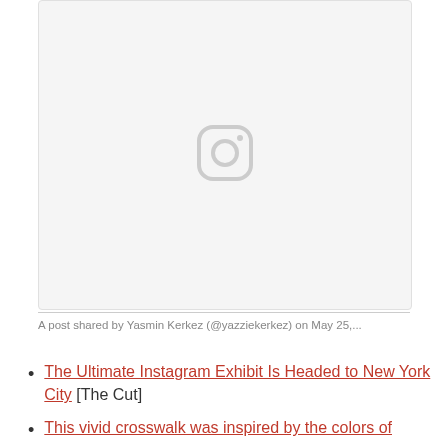[Figure (screenshot): Instagram embed placeholder showing the Instagram camera icon in light gray on a light gray background, within a rounded rectangle border.]
A post shared by Yasmin Kerkez (@yazziekerkez) on May 25,...
The Ultimate Instagram Exhibit Is Headed to New York City [The Cut]
This vivid crosswalk was inspired by the colors of...